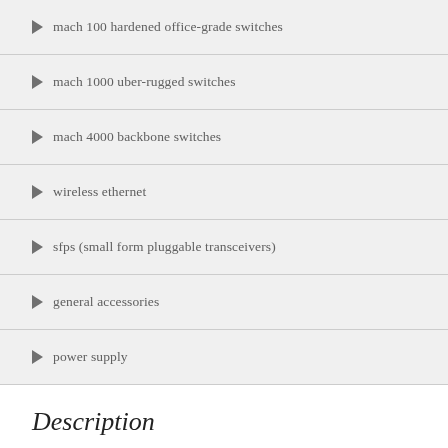mach 100 hardened office-grade switches
mach 1000 uber-rugged switches
mach 4000 backbone switches
wireless ethernet
sfps (small form pluggable transceivers)
general accessories
power supply
Description